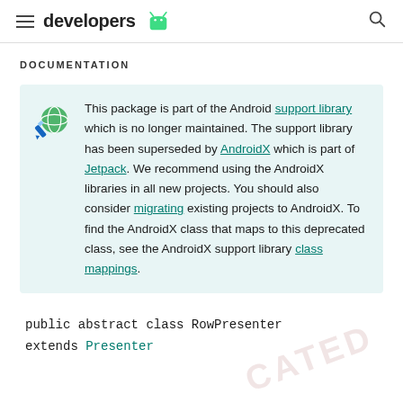developers
DOCUMENTATION
This package is part of the Android support library which is no longer maintained. The support library has been superseded by AndroidX which is part of Jetpack. We recommend using the AndroidX libraries in all new projects. You should also consider migrating existing projects to AndroidX. To find the AndroidX class that maps to this deprecated class, see the AndroidX support library class mappings.
public abstract class RowPresenter
extends Presenter